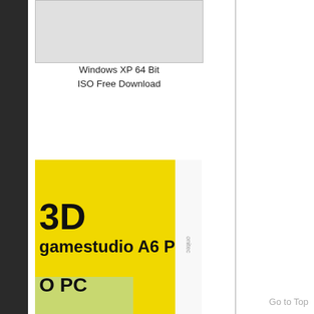[Figure (screenshot): Windows XP 64 Bit ISO thumbnail image placeholder (gray box)]
Windows XP 64 Bit ISO Free Download
[Figure (photo): Conitec 3D Gamestudio A6 Pro software box art with yellow background and black text]
Conitec 3D Gamestudio A6 Pro Free Download
[Figure (screenshot): PCMark 7 PC Performance Testing software box art with dark purple/gold circuit board design]
Go to Top